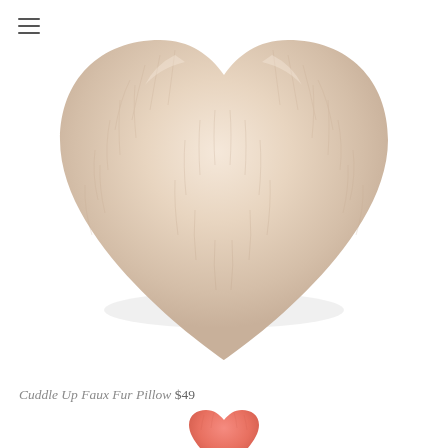[Figure (photo): A heart-shaped faux fur pillow in a pale blush/cream color, photographed from above against a white background. The pillow has a soft, fluffy texture with visible fur fibers. The image is cropped so the bottom portion of the heart shape trails off near the center of the frame.]
Cuddle Up Faux Fur Pillow $49
[Figure (photo): Partial view of a second product (coral/salmon colored heart-shaped pillow) appearing at the very bottom of the page, cropped.]